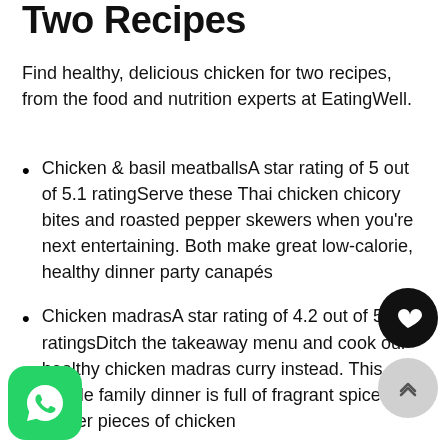Two Recipes
Find healthy, delicious chicken for two recipes, from the food and nutrition experts at EatingWell.
Chicken & basil meatballsA star rating of 5 out of 5.1 ratingServe these Thai chicken chicory bites and roasted pepper skewers when you're next entertaining. Both make great low-calorie, healthy dinner party canapés
Chicken madrasA star rating of 4.2 out of 5.227 ratingsDitch the takeaway menu and cook our healthy chicken madras curry instead. This simple family dinner is full of fragrant spices and tender pieces of chicken